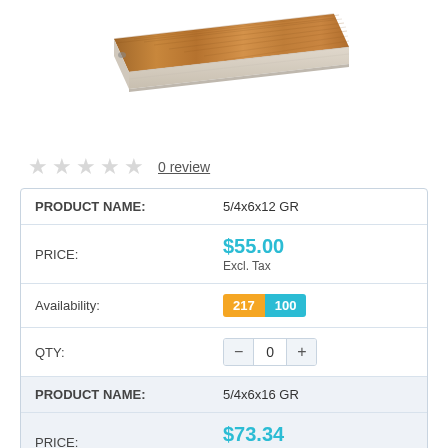[Figure (photo): A composite decking board plank shown in a 3D angled perspective, brown wood-grain texture on top, light grey sides.]
★★★★★ 0 review
| PRODUCT NAME: | 5/4x6x12 GR |
| PRICE: | $55.00 Excl. Tax |
| Availability: | 217 100 |
| QTY: | — 0 + |
| PRODUCT NAME: | 5/4x6x16 GR |
| PRICE: | $73.34 Excl. Tax |
| Availability: | 508 100 |